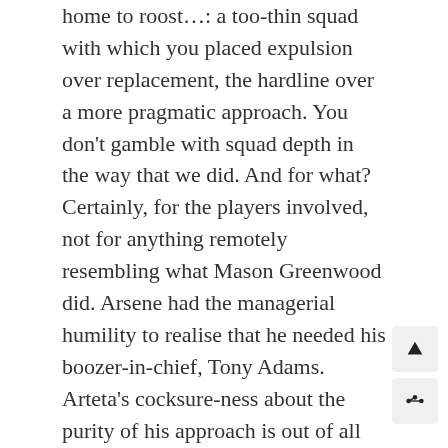home to roost…: a too-thin squad with which you placed expulsion over replacement, the hardline over a more pragmatic approach. You don't gamble with squad depth in the way that we did. And for what? Certainly, for the players involved, not for anything remotely resembling what Mason Greenwood did. Arsene had the managerial humility to realise that he needed his boozer-in-chief, Tony Adams. Arteta's cocksure-ness about the purity of his approach is out of all proportion to his demonstrated abilities. Hopefully this collapse is a teachable moment for a guy who is whip smart, by all accounts.
Long story short, we've got to give ourselves the best chance of weathering the downturns in football, because boy, they do come. And when they do, you can't put out a starting XI for a must-win game in which 3 of